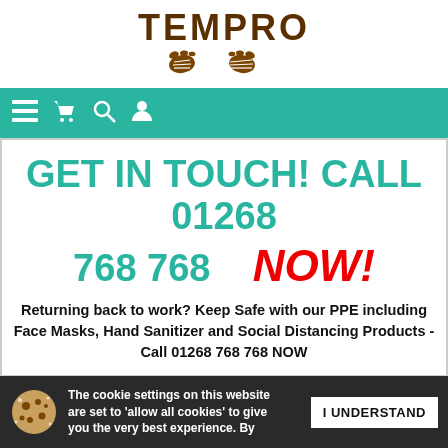[Figure (logo): TEMPRO logo with boot print icons in brown]
[Figure (screenshot): Teal navigation bar with hamburger menu, cart, search, and user icons]
GET IN TOUCH! CALL 01268 768 768 NOW! Returning back to work? Keep Safe with our PPE including Face Masks, Hand Sanitizer and Social Distancing Products - Call 01268 768 768 NOW
Home / Hook & Loop Fasteners / Hook & Loop Fastener ADHESIVE
The cookie settings on this website are set to 'allow all cookies' to give you the very best experience. By